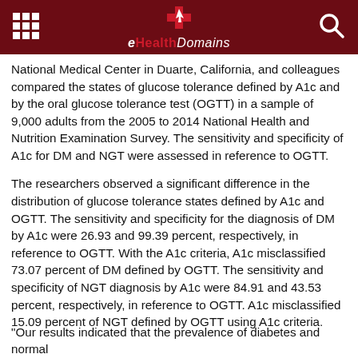eHealthDomains
National Medical Center in Duarte, California, and colleagues compared the states of glucose tolerance defined by A1c and by the oral glucose tolerance test (OGTT) in a sample of 9,000 adults from the 2005 to 2014 National Health and Nutrition Examination Survey. The sensitivity and specificity of A1c for DM and NGT were assessed in reference to OGTT.
The researchers observed a significant difference in the distribution of glucose tolerance states defined by A1c and OGTT. The sensitivity and specificity for the diagnosis of DM by A1c were 26.93 and 99.39 percent, respectively, in reference to OGTT. With the A1c criteria, A1c misclassified 73.07 percent of DM defined by OGTT. The sensitivity and specificity of NGT diagnosis by A1c were 84.91 and 43.53 percent, respectively, in reference to OGTT. A1c misclassified 15.09 percent of NGT defined by OGTT using A1c criteria.
"Our results indicated that the prevalence of diabetes and normal